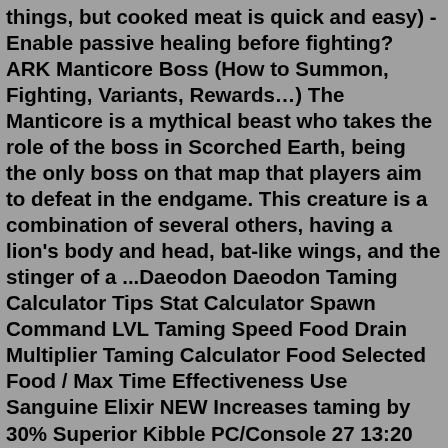things, but cooked meat is quick and easy) -Enable passive healing before fighting? ARK Manticore Boss (How to Summon, Fighting, Variants, Rewards…) The Manticore is a mythical beast who takes the role of the boss in Scorched Earth, being the only boss on that map that players aim to defeat in the endgame. This creature is a combination of several others, having a lion's body and head, bat-like wings, and the stinger of a ...Daeodon Daeodon Taming Calculator Tips Stat Calculator Spawn Command LVL Taming Speed Food Drain Multiplier Taming Calculator Food Selected Food / Max Time Effectiveness Use Sanguine Elixir NEW Increases taming by 30% Superior Kibble PC/Console 27 13:20 99.9%  +74 Lvl (224) Raw Mutton 281 1:21:18 89.5%  +67 Lvl (217) Cooked Lamb Chop 521 2:30:34.Daeodon Daeodon Taming Calculator Tips Stat Calculator Spawn Command LVL Taming Speed Food Drain Multiplier Taming Calculator Food Selected Food / Max Time Effectiveness Use Sanguine Elixir NEW Increases taming by 30% Superior Kibble PC/Console 27 13:20